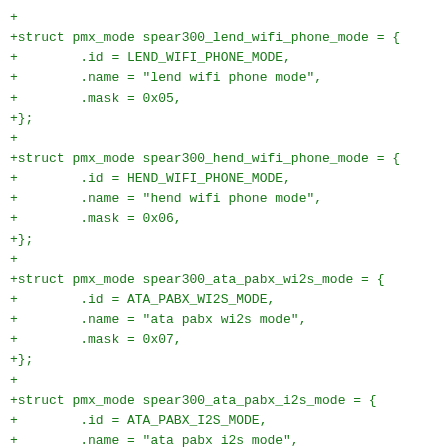+
+struct pmx_mode spear300_lend_wifi_phone_mode = {
+        .id = LEND_WIFI_PHONE_MODE,
+        .name = "lend wifi phone mode",
+        .mask = 0x05,
+};
+
+struct pmx_mode spear300_hend_wifi_phone_mode = {
+        .id = HEND_WIFI_PHONE_MODE,
+        .name = "hend wifi phone mode",
+        .mask = 0x06,
+};
+
+struct pmx_mode spear300_ata_pabx_wi2s_mode = {
+        .id = ATA_PABX_WI2S_MODE,
+        .name = "ata pabx wi2s mode",
+        .mask = 0x07,
+};
+
+struct pmx_mode spear300_ata_pabx_i2s_mode = {
+        .id = ATA_PABX_I2S_MODE,
+        .name = "ata pabx i2s mode",
+        .mask = 0x08,
+};
+